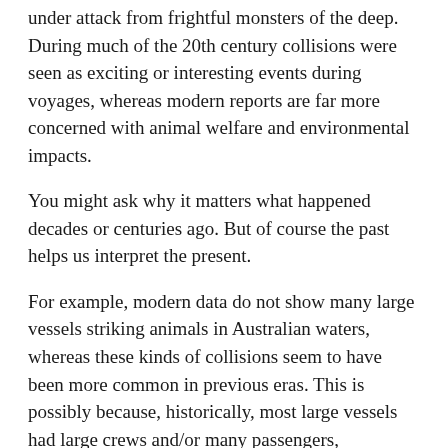under attack from frightful monsters of the deep. During much of the 20th century collisions were seen as exciting or interesting events during voyages, whereas modern reports are far more concerned with animal welfare and environmental impacts.
You might ask why it matters what happened decades or centuries ago. But of course the past helps us interpret the present.
For example, modern data do not show many large vessels striking animals in Australian waters, whereas these kinds of collisions seem to have been more common in previous eras. This is possibly because, historically, most large vessels had large crews and/or many passengers, potentially making collisions more likely to be spotted than they would be aboard today's large automated vessels with small crews. This raises the question of whether significant numbers of collisions are happening without being noticed.